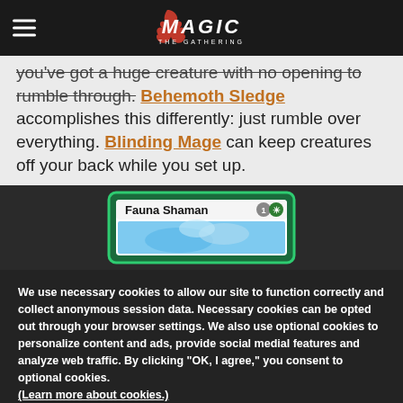Magic: The Gathering navigation bar with logo
you've got a huge creature with no opening to rumble through. Behemoth Sledge accomplishes this differently: just rumble over everything. Blinding Mage can keep creatures off your back while you set up.
[Figure (photo): Magic: The Gathering card - Fauna Shaman, partially visible, on dark background]
We use necessary cookies to allow our site to function correctly and collect anonymous session data. Necessary cookies can be opted out through your browser settings. We also use optional cookies to personalize content and ads, provide social medial features and analyze web traffic. By clicking "OK, I agree," you consent to optional cookies. (Learn more about cookies.)
OK, I agree   No, thanks